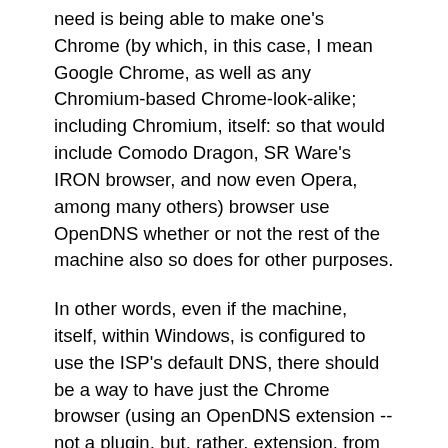need is being able to make one's Chrome (by which, in this case, I mean Google Chrome, as well as any Chromium-based Chrome-look-alike; including Chromium, itself: so that would include Comodo Dragon, SR Ware's IRON browser, and now even Opera, among many others) browser use OpenDNS whether or not the rest of the machine also so does for other purposes.
In other words, even if the machine, itself, within Windows, is configured to use the ISP's default DNS, there should be a way to have just the Chrome browser (using an OpenDNS extension -- not a plugin, but, rather, extension, from the Chrome Web Store -- which, of course, doesn't exsit yet; or at least I couldn't find one, hence the reason I'm making this suggestion) use nothing but OpenDNS.
The reason this is important is for users of portable versions of software -- on others' machines using...